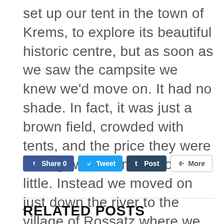set up our tent in the town of Krems, to explore its beautiful historic centre, but as soon as we saw the campsite we knew we'd move on. It had no shade. In fact, it was just a brown field, crowded with tents, and the price they were asking was too much for too little. Instead we moved on just down the river to the village of Rossatz where we found a campsite with apple and pear trees and a lovely view of the river as well as a sky-blue church spire on the other side. Much prettier and cheaper too
[Figure (other): Social sharing buttons: Facebook Share 0, Tweet, Post (Tumblr), More]
RELATED POSTS